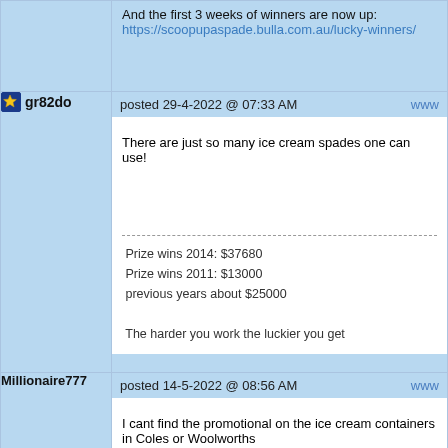And the first 3 weeks of winners are now up:
https://scoopupaspade.bulla.com.au/lucky-winners/
posted 29-4-2022 @ 07:33 AM
gr82do
There are just so many ice cream spades one can use!
Prize wins 2014: $37680
Prize wins 2011: $13000
previous years about $25000

The harder you work the luckier you get
posted 14-5-2022 @ 08:56 AM
Millionaire777
I cant find the promotional on the ice cream containers in Coles or Woolworths